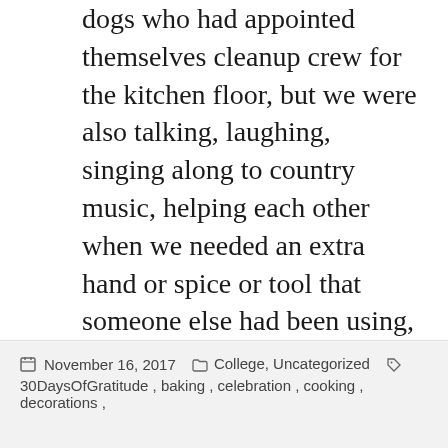dogs who had appointed themselves cleanup crew for the kitchen floor, but we were also talking, laughing, singing along to country music, helping each other when we needed an extra hand or spice or tool that someone else had been using, and every bit of that added to the flavor of the food we sat down to hours later.  I think, in a very dim and modern way, it reflected the way the pilgrims and Indians must have felt in feasting together after so much hard work at that New England meal hundreds of years ago.
So, today, I am thankful for burnt rolls, and crowded kitchens, and a delicious meal with friends and food aplenty.
November 16, 2017   College, Uncategorized   30DaysOfGratitude, baking, celebration, cooking, decorations,